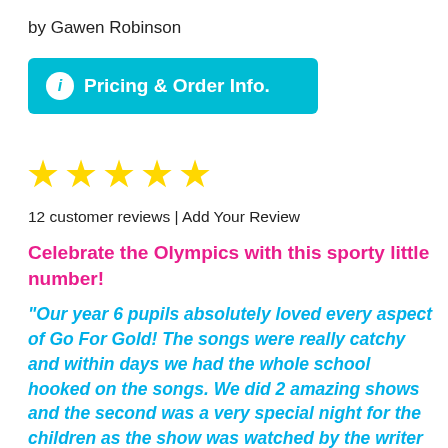by Gawen Robinson
[Figure (other): Cyan/turquoise button with white info icon circle and bold white text 'Pricing & Order Info.']
[Figure (other): Five yellow star rating icons]
12 customer reviews | Add Your Review
Celebrate the Olympics with this sporty little number!
"Our year 6 pupils absolutely loved every aspect of Go For Gold! The songs were really catchy and within days we had the whole school hooked on the songs. We did 2 amazing shows and the second was a very special night for the children as the show was watched by the writer himself 'Mr G